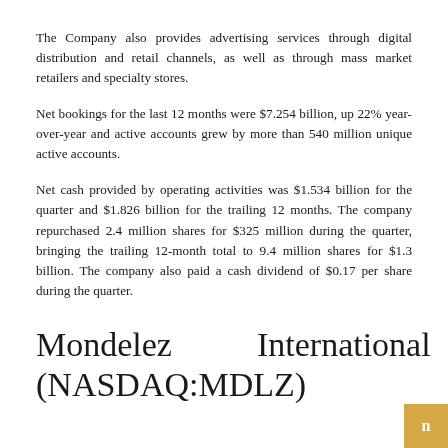The Company also provides advertising services through digital distribution and retail channels, as well as through mass market retailers and specialty stores.
Net bookings for the last 12 months were $7.254 billion, up 22% year-over-year and active accounts grew by more than 540 million unique active accounts.
Net cash provided by operating activities was $1.534 billion for the quarter and $1.826 billion for the trailing 12 months. The company repurchased 2.4 million shares for $325 million during the quarter, bringing the trailing 12-month total to 9.4 million shares for $1.3 billion. The company also paid a cash dividend of $0.17 per share during the quarter.
Mondelez International Inc. (NASDAQ:MDLZ)